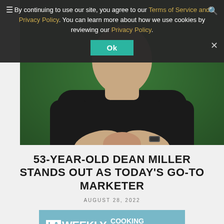[Figure (photo): Person in black t-shirt with hands clasped together, photographed against a green background, torso/hands only visible]
By continuing to use our site, you agree to our Terms of Service and Privacy Policy. You can learn more about how we use cookies by reviewing our Privacy Policy.
Ok
53-YEAR-OLD DEAN MILLER STANDS OUT AS TODAY'S GO-TO MARKETER
AUGUST 28, 2022
[Figure (infographic): LA Weekly Cooking Box advertisement banner with teal/blue background showing LA Weekly logo, 'COOKING BOX' text, 'SHOP NOW' button, and spice bottles]